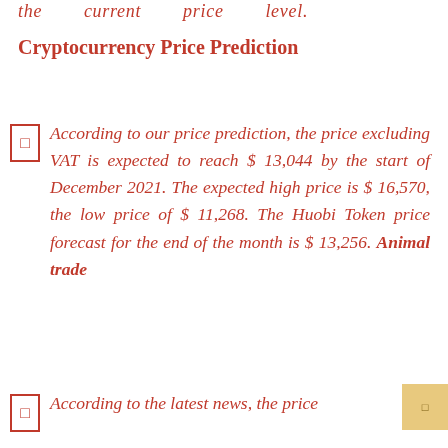the current price level.
Cryptocurrency Price Prediction
According to our price prediction, the price excluding VAT is expected to reach $ 13,044 by the start of December 2021. The expected high price is $ 16,570, the low price of $ 11,268. The Huobi Token price forecast for the end of the month is $ 13,256. Animal trade
According to the latest news, the price